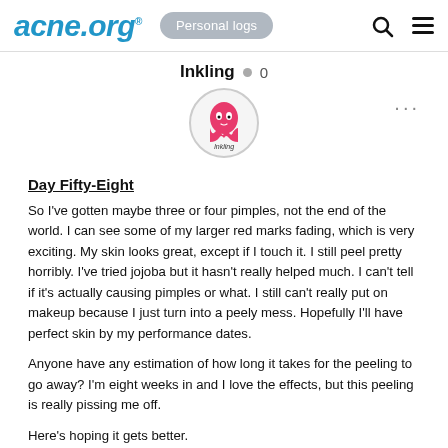acne.org® | Personal logs
Inkling  ● 0
[Figure (illustration): Circular avatar showing a pink ghost-like character with the text 'Inkling' stylized below it, inside a circular border]
Day Fifty-Eight
So I've gotten maybe three or four pimples, not the end of the world. I can see some of my larger red marks fading, which is very exciting. My skin looks great, except if I touch it. I still peel pretty horribly. I've tried jojoba but it hasn't really helped much. I can't tell if it's actually causing pimples or what. I still can't really put on makeup because I just turn into a peely mess. Hopefully I'll have perfect skin by my performance dates.
Anyone have any estimation of how long it takes for the peeling to go away? I'm eight weeks in and I love the effects, but this peeling is really pissing me off.
Here's hoping it gets better.
SwimREly - Good luck!